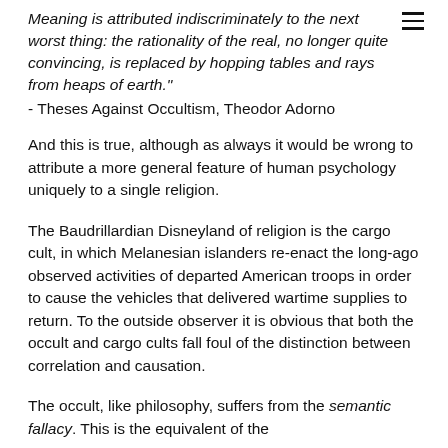Meaning is attributed indiscriminately to the next worst thing: the rationality of the real, no longer quite convincing, is replaced by hopping tables and rays from heaps of earth." - Theses Against Occultism, Theodor Adorno
And this is true, although as always it would be wrong to attribute a more general feature of human psychology uniquely to a single religion.
The Baudrillardian Disneyland of religion is the cargo cult, in which Melanesian islanders re-enact the long-ago observed activities of departed American troops in order to cause the vehicles that delivered wartime supplies to return. To the outside observer it is obvious that both the occult and cargo cults fall foul of the distinction between correlation and causation.
The occult, like philosophy, suffers from the semantic fallacy. This is the equivalent of the